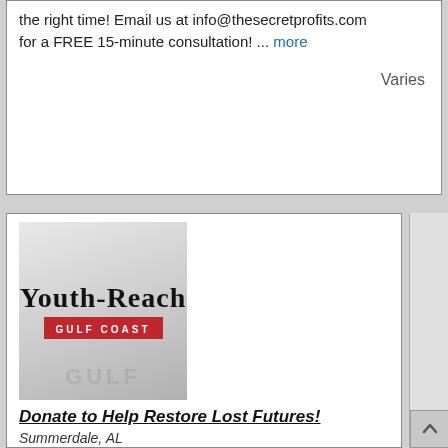the right time! Email us at info@thesecretprofits.com for a FREE 15-minute consultation! ... more
Varies
[Figure (logo): Youth-Reach Gulf Coast logo: stylized text 'Youth-Reach' in serif font with 'GULF COAST' in white on red bar, watermark 'GULF' text in background]
Donate to Help Restore Lost Futures!
Summerdale, AL
Donations needed for Youth-Reach Gulf CoastRestoring Lost FuturesLIFE-CHANGING PROGRAM FOR YOUNG MENA Fresh ChanceYouth-Reach Gulf Coast seeks to provide a fresh chance to young men ages 18-22 by intr ... more